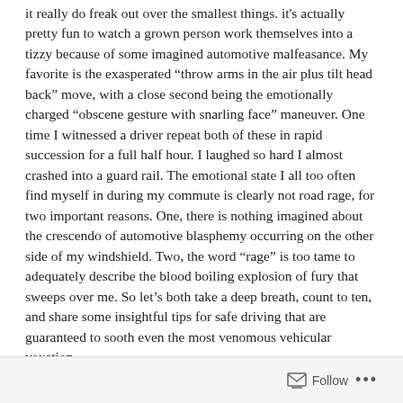it really do freak out over the smallest things. it's actually pretty fun to watch a grown person work themselves into a tizzy because of some imagined automotive malfeasance. My favorite is the exasperated “throw arms in the air plus tilt head back” move, with a close second being the emotionally charged “obscene gesture with snarling face” maneuver. One time I witnessed a driver repeat both of these in rapid succession for a full half hour. I laughed so hard I almost crashed into a guard rail. The emotional state I all too often find myself in during my commute is clearly not road rage, for two important reasons. One, there is nothing imagined about the crescendo of automotive blasphemy occurring on the other side of my windshield. Two, the word “rage” is too tame to adequately describe the blood boiling explosion of fury that sweeps over me. So let’s both take a deep breath, count to ten, and share some insightful tips for safe driving that are guaranteed to sooth even the most venomous vehicular vexation.
Follow ...